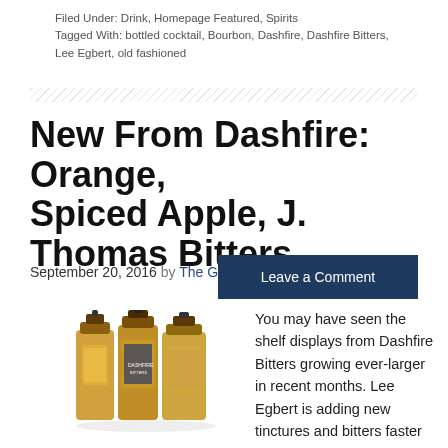Filed Under: Drink, Homepage Featured, Spirits
Tagged With: bottled cocktail, Bourbon, Dashfire, Dashfire Bitters, Lee Egbert, old fashioned
New From Dashfire: Orange, Spiced Apple, J. Thomas Bitters
September 20, 2016 by The Growler
Leave a Comment
[Figure (photo): Three bottles of Dashfire Bitters products side by side]
You may have seen the shelf displays from Dashfire Bitters growing ever-larger in recent months. Lee Egbert is adding new tinctures and bitters faster than we can shake a daiquiri. Here are three of his latest releases for all your autumn